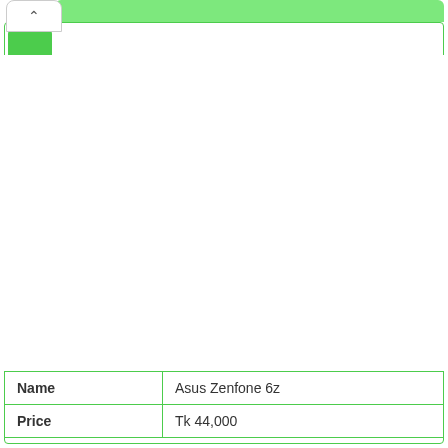[Figure (screenshot): Mobile app UI screenshot showing a product listing page with green top navigation bar, back button tab, green icon in top-left corner of the card, and a large white image area for a product photo.]
| Name | Asus Zenfone 6z |
| Price | Tk 44,000 |